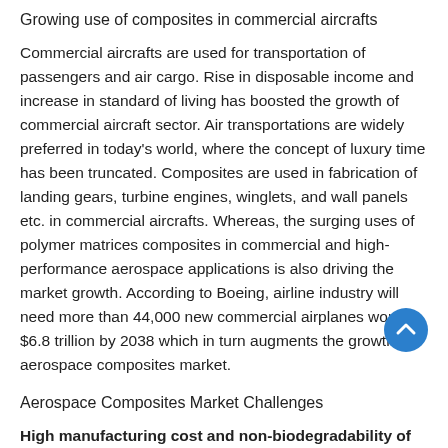Growing use of composites in commercial aircrafts
Commercial aircrafts are used for transportation of passengers and air cargo. Rise in disposable income and increase in standard of living has boosted the growth of commercial aircraft sector. Air transportations are widely preferred in today's world, where the concept of luxury time has been truncated. Composites are used in fabrication of landing gears, turbine engines, winglets, and wall panels etc. in commercial aircrafts. Whereas, the surging uses of polymer matrices composites in commercial and high-performance aerospace applications is also driving the market growth. According to Boeing, airline industry will need more than 44,000 new commercial airplanes worth $6.8 trillion by 2038 which in turn augments the growth of aerospace composites market.
Aerospace Composites Market Challenges
High manufacturing cost and non-biodegradability of aerospace composites
Although composite materials are widely used in aerospace